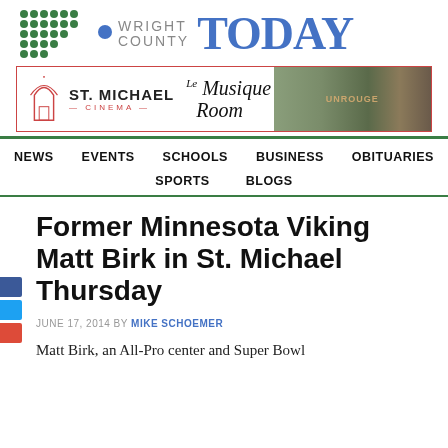[Figure (logo): Wright County Today logo with green dot grid and blue TODAY text]
[Figure (illustration): Advertisement banner for St. Michael Cinema and Le Musique Room with building photo on right]
NEWS  EVENTS  SCHOOLS  BUSINESS  OBITUARIES  SPORTS  BLOGS
Former Minnesota Viking Matt Birk in St. Michael Thursday
JUNE 17, 2014 BY MIKE SCHOEMER
Matt Birk, an All-Pro center and Super Bowl